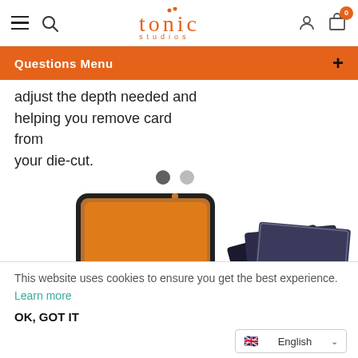tonic studios navigation bar with hamburger menu, search, logo, account, and cart (0)
Questions Menu
adjust the depth needed and helping you remove card from your die-cut.
[Figure (photo): Two product images: an orange zippered folder/portfolio on the left and dark-colored acrylic/plastic sheets fanned out on the right]
This website uses cookies to ensure you get the best experience. Learn more
OK, GOT IT
English